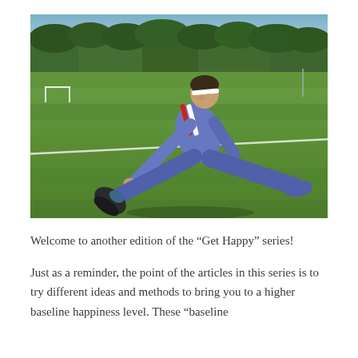[Figure (photo): Person in blue tracksuit with white headband doing a stretching exercise on a green grass sports field, reaching toward their foot. Trees and sky visible in background, goal post on left side.]
Welcome to another edition of the "Get Happy" series!
Just as a reminder, the point of the articles in this series is to try different ideas and methods to bring you to a higher baseline happiness level. These "baseline